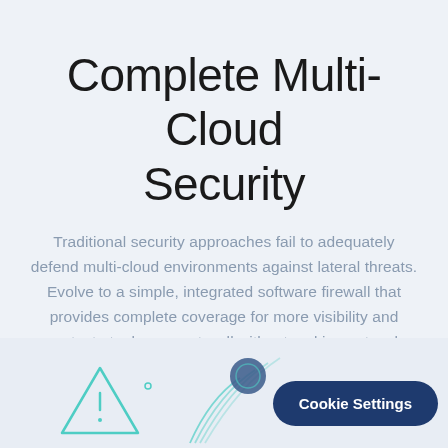Complete Multi-Cloud Security
Traditional security approaches fail to adequately defend multi-cloud environments against lateral threats. Evolve to a simple, integrated software firewall that provides complete coverage for more visibility and context at a lower cost—all without making network changes.
[Figure (illustration): Teal/mint colored security-themed illustration with warning triangle icon, concentric arc lines, and circular elements at the bottom of the page]
Cookie Settings